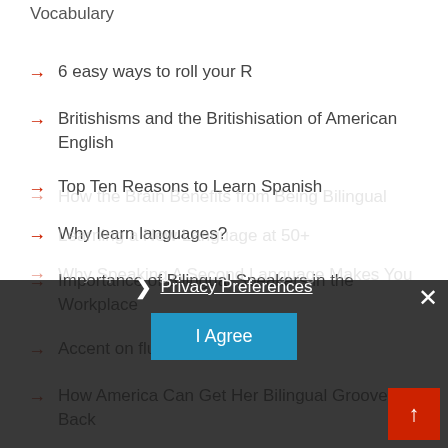Vocabulary
6 easy ways to roll your R
Britishisms and the Britishisation of American English
Top Ten Reasons to Learn Spanish
Why learn languages?
Importance of Bilingual Speakers in the Workplace
Accent on fluency
How America Can Get Her Bilingual Groove Back
How the Brain Benefits from Being Bilingual
Learning a New Language at 50+
Why Speaking A Second Language Makes You